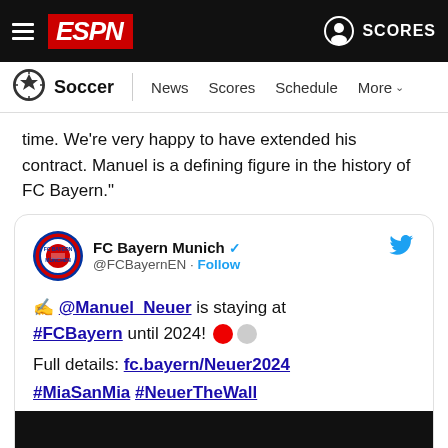ESPN Soccer — News Scores Schedule More
time. We're very happy to have extended his contract. Manuel is a defining figure in the history of FC Bayern."
[Figure (screenshot): Embedded tweet from FC Bayern Munich (@FCBayernEN) with text: '✍ @Manuel_Neuer is staying at #FCBayern until 2024! 🔴⚫ Full details: fc.bayern/Neuer2024 #MiaSanMia #NeuerTheWall' followed by a dark media thumbnail.]